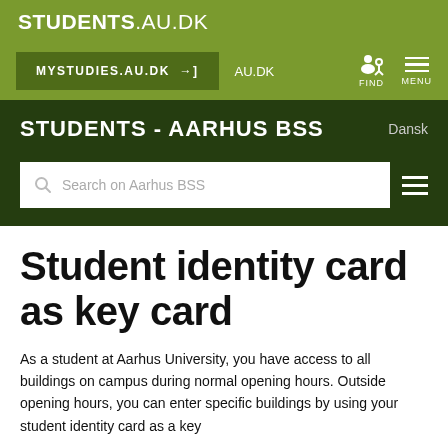STUDENTS.AU.DK
[Figure (screenshot): Navigation bar with MYSTUDIES.AU.DK button, AU.DK link, FIND and MENU icons on olive green background]
STUDENTS - AARHUS BSS | Dansk
[Figure (screenshot): Search bar with placeholder 'Search on Aarhus BSS' and hamburger menu icon on dark green background]
Student identity card as key card
As a student at Aarhus University, you have access to all buildings on campus during normal opening hours. Outside opening hours, you can enter specific buildings by using your student identity card as a key